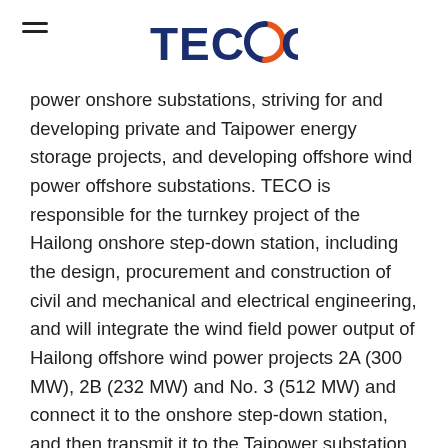TECO
power onshore substations, striving for and developing private and Taipower energy storage projects, and developing offshore wind power offshore substations. TECO is responsible for the turnkey project of the Hailong onshore step-down station, including the design, procurement and construction of civil and mechanical and electrical engineering, and will integrate the wind field power output of Hailong offshore wind power projects 2A (300 MW), 2B (232 MW) and No. 3 (512 MW) and connect it to the onshore step-down station, and then transmit it to the Taipower substation to join the power transmission and distribution system. It is expected to be connected to the grid in 2024. TECO has obtained the turnkey project of offshore wind power onshore substations for three consecutive years, and accumulated about 2 GW